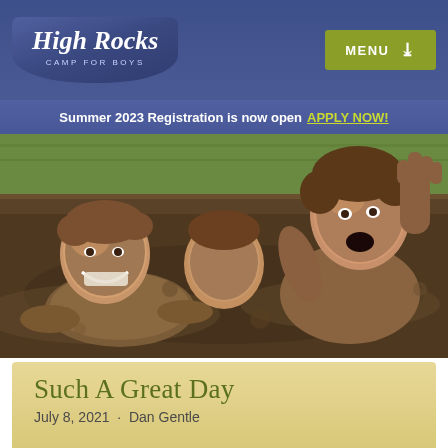High Rocks — Camp for Boys | MENU
Summer 2023 Registration is now open APPLY NOW!
[Figure (photo): Three mud-covered boys playing and laughing in a mud pit outdoors on green grass]
Such A Great Day
July 8, 2021 — Dan Gentle